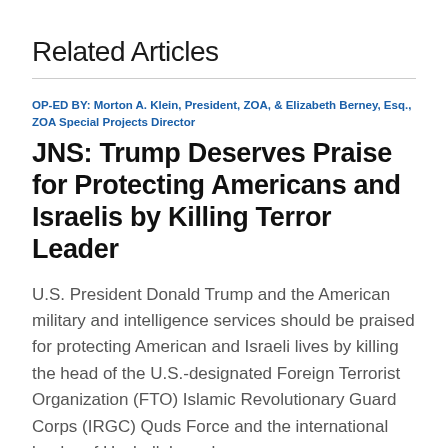Related Articles
OP-ED BY: Morton A. Klein, President, ZOA, & Elizabeth Berney, Esq., ZOA Special Projects Director
JNS: Trump Deserves Praise for Protecting Americans and Israelis by Killing Terror Leader
U.S. President Donald Trump and the American military and intelligence services should be praised for protecting American and Israeli lives by killing the head of the U.S.-designated Foreign Terrorist Organization (FTO) Islamic Revolutionary Guard Corps (IRGC) Quds Force and the international leader of Hezbollah, arch-